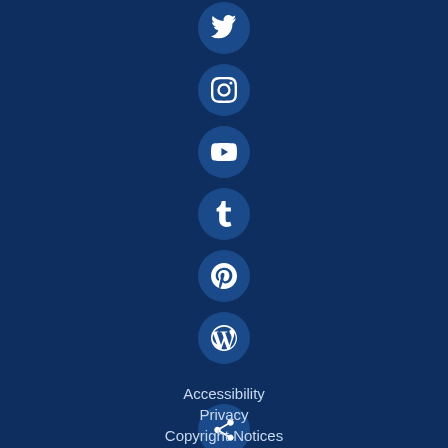[Figure (infographic): Vertical list of social media icon circles on dark blue background: Twitter, Instagram, YouTube, Tumblr, Pinterest, WordPress, Share, Settings]
Accessibility
Privacy
Copyright Notices